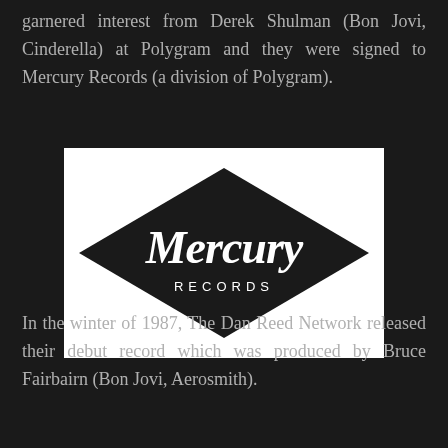garnered interest from Derek Shulman (Bon Jovi, Cinderella) at Polygram and they were signed to Mercury Records (a division of Polygram).
[Figure (logo): Mercury Records logo: black diamond/rhombus shape on white background with white script text 'Mercury' and 'RECORDS' in block caps underneath]
In the winter of 1987, The Dan Reed Network released their debut record which was produced by Bruce Fairbairn (Bon Jovi, Aerosmith).